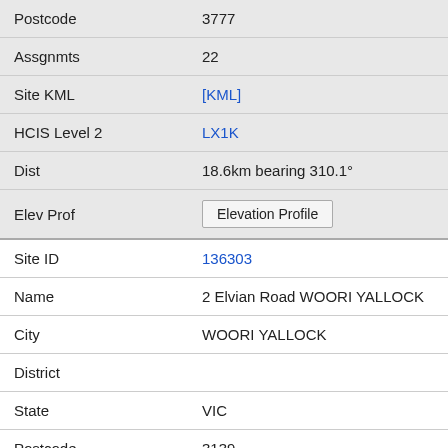| Postcode | 3777 |
| Assgnmts | 22 |
| Site KML | [KML] |
| HCIS Level 2 | LX1K |
| Dist | 18.6km bearing 310.1° |
| Elev Prof | Elevation Profile |
| Site ID | 136303 |
| Name | 2 Elvian Road WOORI YALLOCK |
| City | WOORI YALLOCK |
| District |  |
| State | VIC |
| Postcode | 3139 |
| Assgnmts |  |
| Site KML | [KML] |
| HCIS Level 2 | LX1O |
| Dist | 18.8km bearing 284.5° |
| Elev Prof | Elevation Profile |